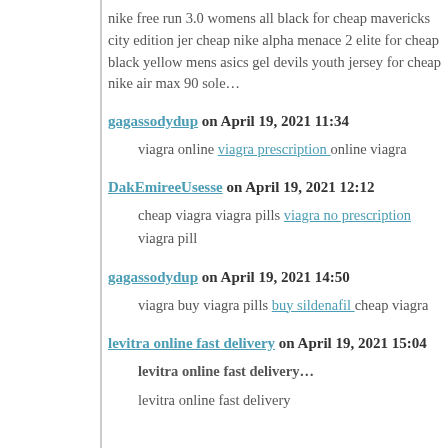nike free run 3.0 womens all black for cheap mavericks city edition je cheap nike alpha menace 2 elite for cheap black yellow mens asics gel devils youth jersey for cheap nike air max 90 sole…
gagassodydup on April 19, 2021 11:34
viagra online viagra prescription online viagra
DakEmireeUsesse on April 19, 2021 12:12
cheap viagra viagra pills viagra no prescription viagra pill
gagassodydup on April 19, 2021 14:50
viagra buy viagra pills buy sildenafil cheap viagra
levitra online fast delivery on April 19, 2021 15:04
levitra online fast delivery…
levitra online fast delivery